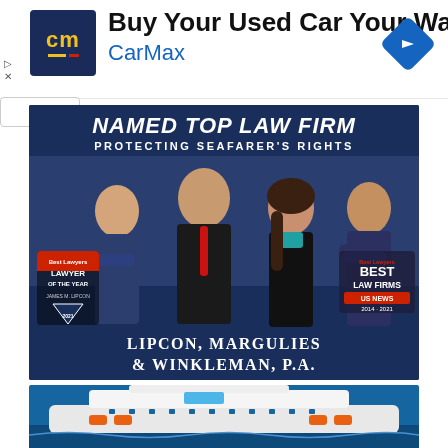[Figure (screenshot): CarMax advertisement banner with dark blue CM logo (yellow 'cm' text with yellow and red dashes), headline 'Buy Your Used Car Your Way', blue 'CarMax' subtitle, and a blue navigation diamond arrow icon on the right. Small play and X icons on the left edge. White background.]
[Figure (photo): Law firm advertisement for Lipcon, Margulies & Winkleman, P.A. Dark navy blue background. Top text reads 'Named Top Law Firm' in large white italic bold text, below 'PROTECTING SEAFARER'S RIGHTS' in white uppercase. Four lawyers in professional attire posed: three men in dark suits (one with red tie) and one woman in a teal blouse. Left badge shows 'Best Lawyers LAWYER OF THE YEAR' award; right badge shows 'Best Lawyers BEST LAW FIRMS US NEWS 2014-2021'. Bottom text 'LIPCON, MARGULIES & WINKLEMAN, P.A.' in white small-caps.]
[Figure (photo): Partial aerial view of a large cruise ship on blue ocean water, visible at the very bottom of the page.]